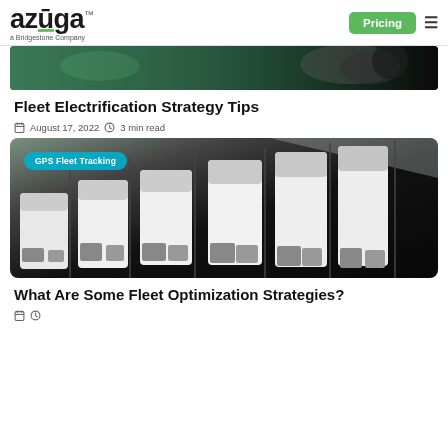azuga. a Bridgestone Company | Pricing
[Figure (photo): Top partial photo of electric vehicles, green and dark tones]
Fleet Electrification Strategy Tips
August 17, 2022  3 min read
[Figure (photo): Aerial view of white fleet vans parked in a lot, with a GPS Fleet Tracking label overlay]
What Are Some Fleet Optimization Strategies?
metadata icons row (date and clock icons)